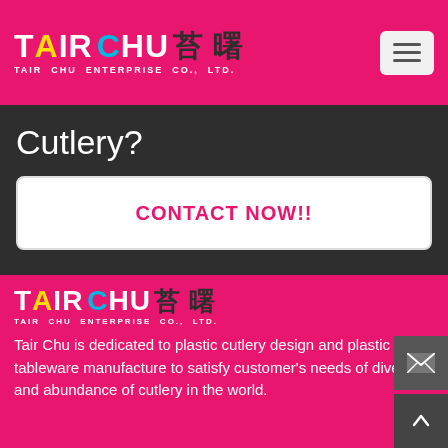TAIR CHU 苔曙 TAIR CHU ENTERPRISE CO., LTD.
Cutlery?
CONTACT NOW!!
[Figure (logo): Tair Chu Enterprise Co., Ltd. logo with colorful text and Chinese characters on pink background]
Tair Chu is dedicated to plastic cutlery design and plastic tableware manufacture to satisfy customer's needs of diversity and abundance of cutlery in the world.